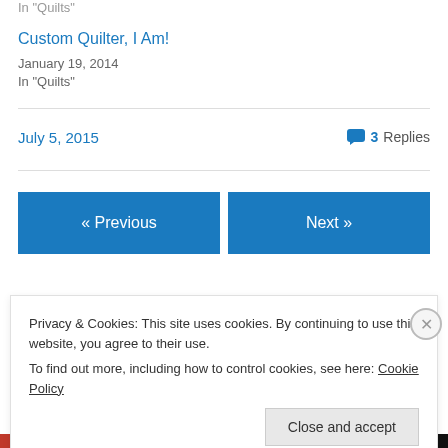In "Quilts"
Custom Quilter, I Am!
January 19, 2014
In "Quilts"
July 5, 2015
3 Replies
« Previous
Next »
I want to hear from you
Privacy & Cookies: This site uses cookies. By continuing to use this website, you agree to their use.
To find out more, including how to control cookies, see here: Cookie Policy
Close and accept